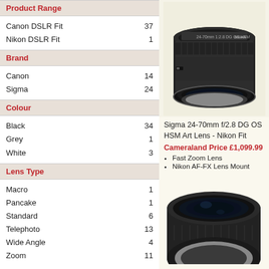Product Range
|  |  |
| --- | --- |
| Canon DSLR Fit | 37 |
| Nikon DSLR Fit | 1 |
Brand
|  |  |
| --- | --- |
| Canon | 14 |
| Sigma | 24 |
Colour
|  |  |
| --- | --- |
| Black | 34 |
| Grey | 1 |
| White | 3 |
Lens Type
|  |  |
| --- | --- |
| Macro | 1 |
| Pancake | 1 |
| Standard | 6 |
| Telephoto | 13 |
| Wide Angle | 4 |
| Zoom | 11 |
[Figure (photo): Sigma 24-70mm f/2.8 DG OS HSM Art Lens - Nikon Fit product photo]
Sigma 24-70mm f/2.8 DG OS HSM Art Lens - Nikon Fit
Cameraland Price £1,099.99
Fast Zoom Lens
Nikon AF-FX Lens Mount
[Figure (photo): Second camera lens product photo (partial, bottom of page)]